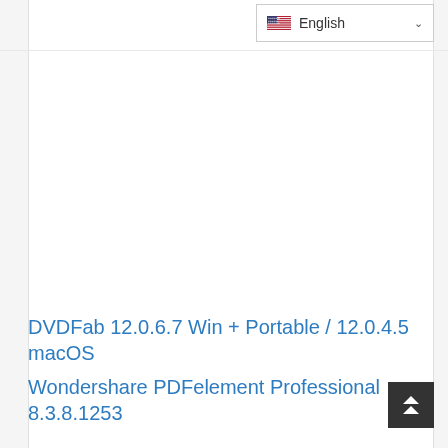English
DVDFab 12.0.6.7 Win + Portable / 12.0.4.5 macOS
Wondershare PDFelement Professional 8.3.8.1253